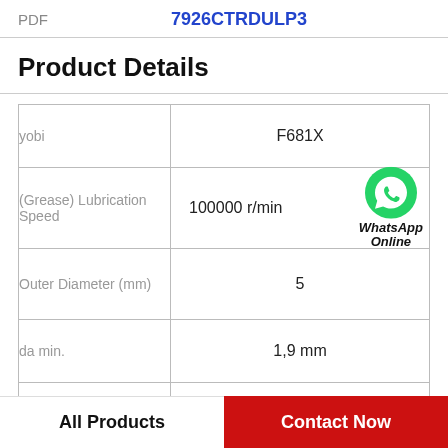PDF   7926CTRDULP3
Product Details
|  |  |
| --- | --- |
| yobi | F681X |
| (Grease) Lubrication Speed | 100000 r/min |
| Outer Diameter (mm) | 5 |
| da min. | 1,9 mm |
| Basic static load rating (C0) | 33 kN |
|  |  |
WhatsApp Online
All Products
Contact Now